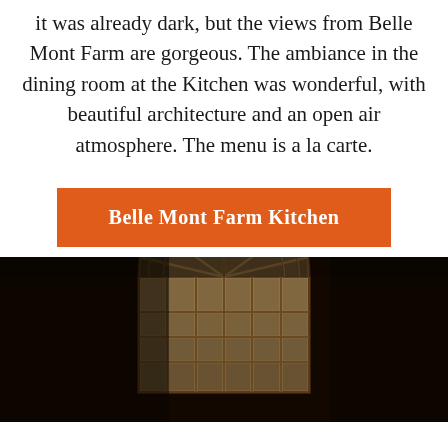it was already dark, but the views from Belle Mont Farm are gorgeous. The ambiance in the dining room at the Kitchen was wonderful, with beautiful architecture and an open air atmosphere. The menu is a la carte.
Belle Mont Farm Kitchen
[Figure (photo): Dark interior photograph of a large arched window with grid panes, architectural detail visible in dim lighting at Belle Mont Farm Kitchen]